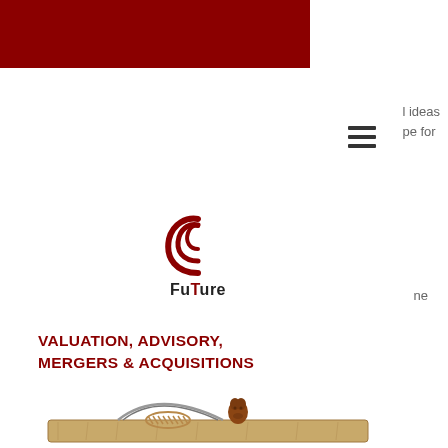[Figure (other): Dark red/maroon rectangular banner across the top left portion of the page]
l ideas
pe for
[Figure (other): Hamburger menu icon (three horizontal lines)]
[Figure (logo): FuTure logo: stylized red crescent/arc symbol above the text 'FuTure' in bold black with red 'T']
ne
VALUATION, ADVISORY,
MERGERS & ACQUISITIONS
[Figure (photo): Photo of a wooden mousetrap with a chocolate gummy bear used as bait, on a white background]